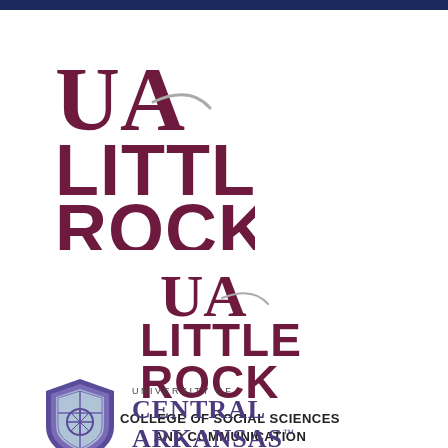[Figure (logo): UA Little Rock university logo (large version) — bold maroon 'UA' letters with gray swash, and 'LITTLE ROCK' in bold maroon uppercase below]
[Figure (logo): UA Little Rock university logo (medium version) with 'COLLEGE OF SOCIAL SCIENCES AND COMMUNICATION' text below in bold dark uppercase]
[Figure (logo): University of Central Arkansas logo — purple shield emblem on left, 'UNIVERSITY OF CENTRAL ARKANSAS' text on right in purple serif font]